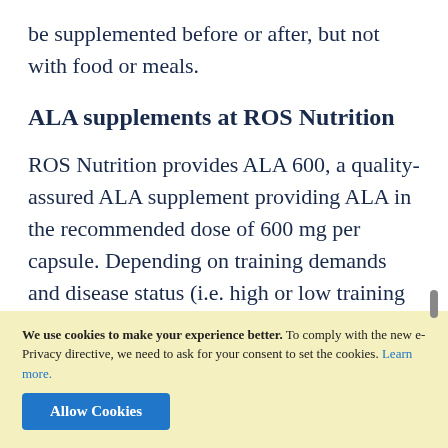be supplemented before or after, but not with food or meals.
ALA supplements at ROS Nutrition
ROS Nutrition provides ALA 600, a quality-assured ALA supplement providing ALA in the recommended dose of 600 mg per capsule. Depending on training demands and disease status (i.e. high or low training demands and/or absence or presence of diabetes)
We use cookies to make your experience better. To comply with the new e-Privacy directive, we need to ask for your consent to set the cookies. Learn more.
Allow Cookies